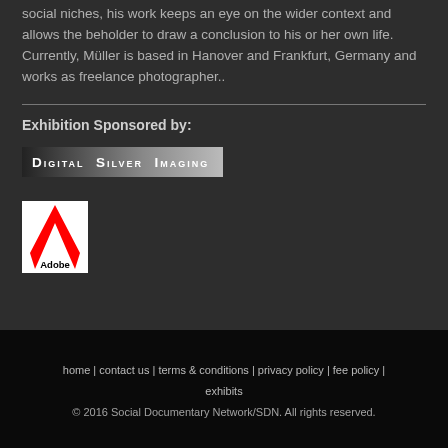social niches, his work keeps an eye on the wider context and allows the beholder to draw a conclusion to his or her own life. Currently, Müller is based in Hanover and Frankfurt, Germany and works as freelance photographer..
Exhibition Sponsored by:
[Figure (logo): Digital Silver Imaging logo — dark gradient background with small-caps white text]
[Figure (logo): Adobe logo — white square with red Adobe A symbol and 'Adobe' text below]
home | contact us | terms & conditions | privacy policy | fee policy | exhibits
© 2016 Social Documentary Network/SDN. All rights reserved.